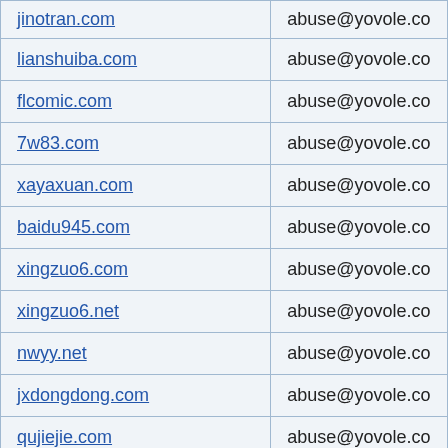| domain | abuse contact |
| --- | --- |
| jinotran.com (partial) | abuse@yovole.com (partial) |
| lianshuiba.com | abuse@yovole.com |
| flcomic.com | abuse@yovole.com |
| 7w83.com | abuse@yovole.com |
| xayaxuan.com | abuse@yovole.com |
| baidu945.com | abuse@yovole.com |
| xingzuo6.com | abuse@yovole.com |
| xingzuo6.net | abuse@yovole.com |
| nwyy.net | abuse@yovole.com |
| jxdongdong.com | abuse@yovole.com |
| qujiejie.com | abuse@yovole.com |
| lolqu.com | abuse@yovole.com |